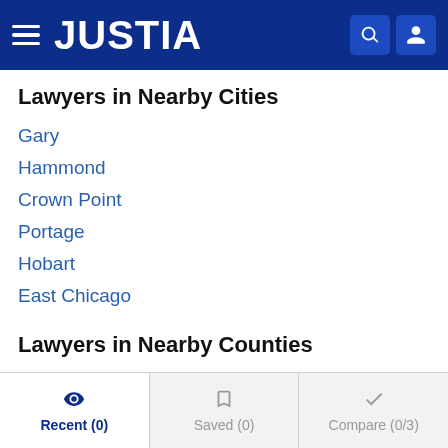JUSTIA
Lawyers in Nearby Cities
Gary
Hammond
Crown Point
Portage
Hobart
East Chicago
Lawyers in Nearby Counties
Lake County
Porter County
LaPorte County
Recent (0)  Saved (0)  Compare (0/3)